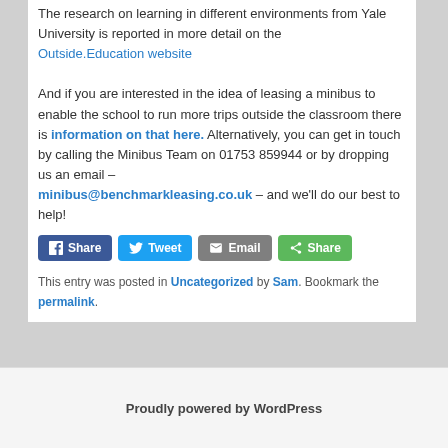The research on learning in different environments from Yale University is reported in more detail on the Outside.Education website
And if you are interested in the idea of leasing a minibus to enable the school to run more trips outside the classroom there is information on that here. Alternatively, you can get in touch by calling the Minibus Team on 01753 859944 or by dropping us an email – minibus@benchmarkleasing.co.uk – and we'll do our best to help!
[Figure (other): Social share buttons: Share (Facebook), Tweet (Twitter), Email, Share (generic)]
This entry was posted in Uncategorized by Sam. Bookmark the permalink.
Proudly powered by WordPress